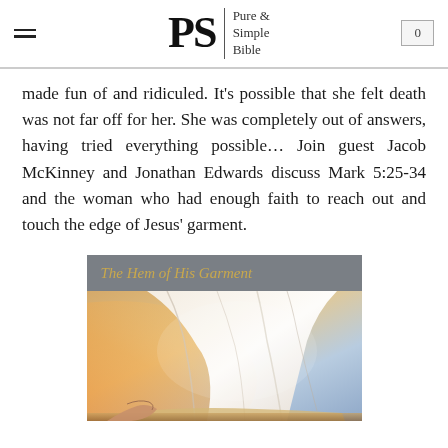Pure & Simple Bible
made fun of and ridiculed. It's possible that she felt death was not far off for her. She was completely out of answers, having tried everything possible… Join guest Jacob McKinney and Jonathan Edwards discuss Mark 5:25-34 and the woman who had enough faith to reach out and touch the edge of Jesus' garment.
[Figure (illustration): Painting showing robes/garment of Jesus with dramatic light, warm orange and golden tones with flowing white cloth, a hand reaching out from below. Title bar reads 'The Hem of His Garment' in golden italic text on grey background.]